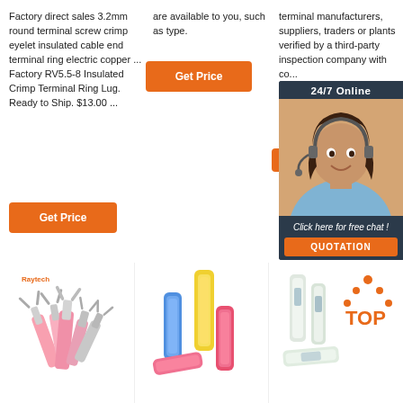Factory direct sales 3.2mm round terminal screw crimp eyelet insulated cable end terminal ring electric copper ... Factory RV5.5-8 Insulated Crimp Terminal Ring Lug. Ready to Ship. $13.00 ...
are available to you, such as type.
[Figure (other): Orange 'Get Price' button in column 2]
terminal manufacturers, suppliers, traders or plants verified by a third-party inspection company with co...
[Figure (other): Chat widget overlay with '24/7 Online' header, photo of female customer service rep with headset, 'Click here for free chat!' text, and orange QUOTATION button]
[Figure (other): Orange 'Get' button (partially visible) in column 3]
[Figure (other): Orange 'Get Price' button below column 1 text]
[Figure (photo): Pink/clear insulated crimp ring terminals (spade lugs) with Raytech branding]
[Figure (photo): Blue, yellow and pink heat shrink butt connector terminals]
[Figure (photo): Clear/white heat shrink connectors with a TOP logo in orange]